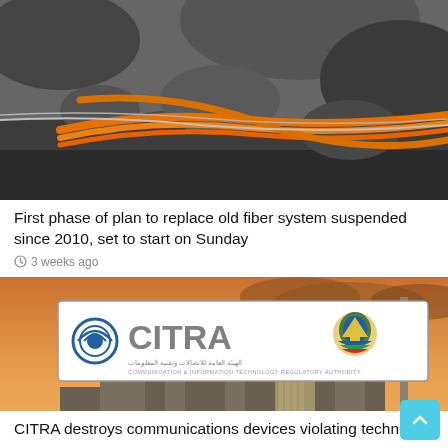[Figure (photo): Photo of orange fiber optic cables and construction debris/rubble in black and white]
First phase of plan to replace old fiber system suspended since 2010, set to start on Sunday
3 weeks ago
[Figure (photo): Photo of CITRA (Communication & Information Technology Regulatory Authority) logo sign against Kuwait city skyline with orange sunset sky]
CITRA destroys communications devices violating technical